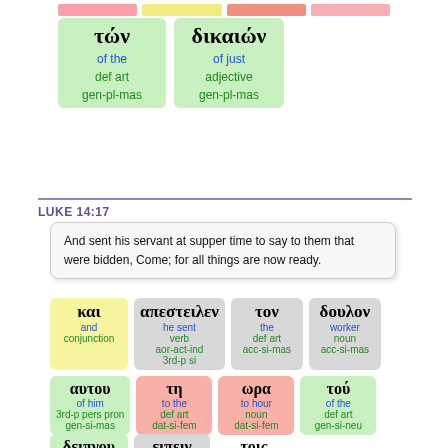[Figure (infographic): Colored strip bar at top (pink, yellow, salmon, light pink)]
| τών | δικαιών |
| of the | of just |
| def art | adjective |
| gen-pl-mas | gen-pl-mas |
LUKE 14:17
And sent his servant at supper time to say to them that were bidden, Come; for all things are now ready.
| και | απεστειλεν | τον | δουλον |
| and | he sent | the | worker |
| conjunction | verb | def art | noun |
|  | aor-act-ind | acc-si-mas | acc-si-mas |
|  | 3rd-p si |  |  |
| αυτου | τη | ωρα | τού |
| of him | to the | to hour | of the |
| 3rd-p pers pron | def art | noun | def art |
| gen-si-mas | dat-si-fem | dat-si-fem | gen-si-neu |
| δειπνου | ειπειν | τοις |